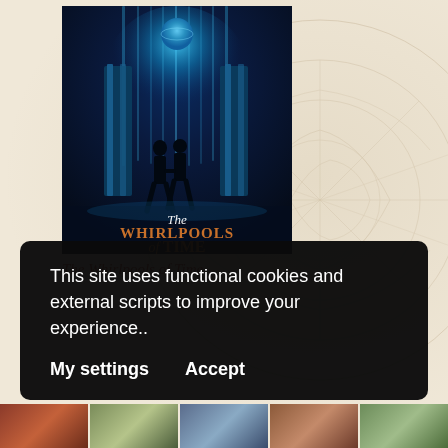[Figure (illustration): Book cover of 'The Whirlpools of Time' showing two silhouetted figures holding hands, standing between tall columns beneath a glowing blue vortex with a planet Earth visible above. Title text reads 'The WHIRLPOOLS of TIME' in gold/orange lettering.]
The Whirlpools of Time
This site uses functional cookies and external scripts to improve your experience..
My settings   Accept
[Figure (photo): A strip of small thumbnail images across the bottom of the page showing various book covers in a row.]